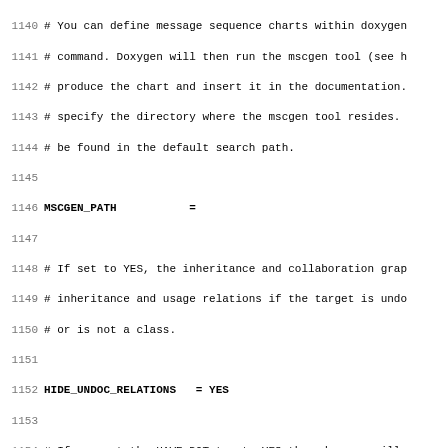Code listing lines 1140-1171 of a Doxygen configuration file
1140 # You can define message sequence charts within doxygen
1141 # command. Doxygen will then run the mscgen tool (see h
1142 # produce the chart and insert it in the documentation.
1143 # specify the directory where the mscgen tool resides.
1144 # be found in the default search path.
1145
1146 MSCGEN_PATH           =
1147
1148 # If set to YES, the inheritance and collaboration grap
1149 # inheritance and usage relations if the target is undo
1150 # or is not a class.
1151
1152 HIDE_UNDOC_RELATIONS   = YES
1153
1154 # If you set the HAVE_DOT tag to YES then doxygen will
1155 # available from the path. This tool is part of Graphvi
1156 # toolkit from AT&T and Lucent Bell Labs. The other opt
1157 # have no effect if this option is set to NO (the defau
1158
1159 HAVE_DOT               = NO
1160
1161 # If the CLASS_GRAPH and HAVE_DOT tags are set to YES t
1162 # will generate a graph for each documented class showi
1163 # indirect inheritance relations. Setting this tag to Y
1164 # the CLASS_DIAGRAMS tag to NO.
1165
1166 CLASS_GRAPH            = YES
1167
1168 # If the COLLABORATION_GRAPH and HAVE_DOT tags are set
1169 # will generate a graph for each documented class showi
1170 # indirect implementation dependencies (inheritance, co
1171 # class references variables) of the class with other.